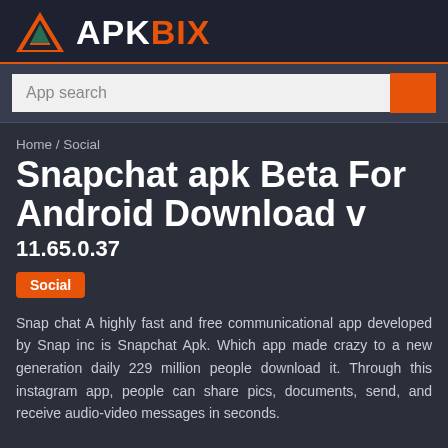APKBIX
App search
Home / Social
Snapchat apk Beta For Android Download v 11.65.0.37
Social
Snap chat A highly fast and free communicational app developed by Snap inc is Snapchat Apk. Which app made crazy to a new generation daily 229 million people download it. Through this instagram app, people can share pics, documents, send, and receive audio-video messages in seconds.